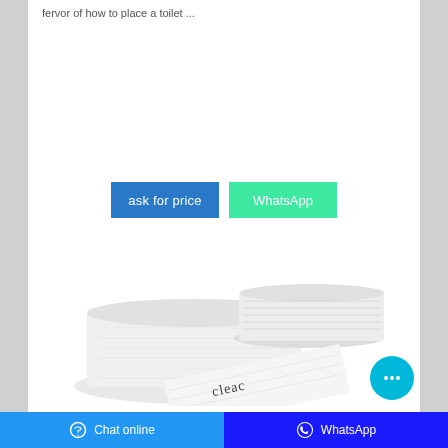fervor of how to place a toilet ...
[Figure (other): Two blue buttons side by side: 'ask for price' (blue) and 'WhatsApp' (green/teal)]
[Figure (photo): Product photo of white tissue/napkin paper packets stacked, with 'cleac' text visible on one packet]
Chat online    WhatsApp